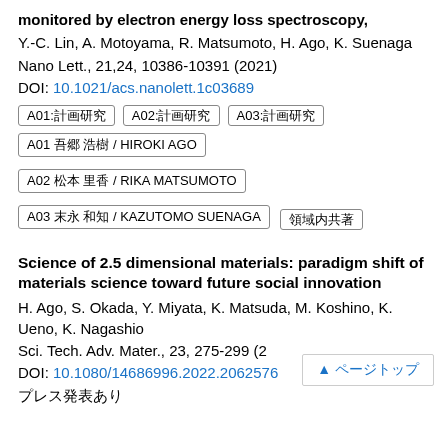monitored by electron energy loss spectroscopy
Y.-C. Lin, A. Motoyama, R. Matsumoto, H. Ago, K. Suenaga
Nano Lett., 21,24, 10386-10391 (2021)
DOI: 10.1021/acs.nanolett.1c03689
A01:計画研究
A02:計画研究
A03:計画研究
A01 吾郷 浩樹 / HIROKI AGO
A02 松本 里香 / RIKA MATSUMOTO
A03 末永 和知 / KAZUTOMO SUENAGA
領域内共著
Science of 2.5 dimensional materials: paradigm shift of materials science toward future social innovation
H. Ago, S. Okada, Y. Miyata, K. Matsuda, M. Koshino, K. Ueno, K. Nagashio
Sci. Tech. Adv. Mater., 23, 275-299 (2022)
DOI: 10.1080/14686996.2022.2062576
プレス発表あり
▲ ページトップ